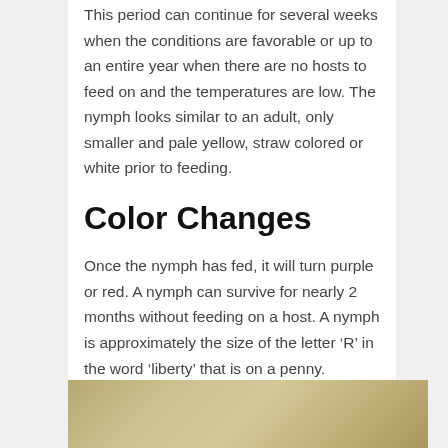This period can continue for several weeks when the conditions are favorable or up to an entire year when there are no hosts to feed on and the temperatures are low. The nymph looks similar to an adult, only smaller and pale yellow, straw colored or white prior to feeding.
Color Changes
Once the nymph has fed, it will turn purple or red. A nymph can survive for nearly 2 months without feeding on a host. A nymph is approximately the size of the letter ‘R’ in the word ‘liberty’ that is on a penny.
The nymph will undergo a gradual and simple metamorphosis and eventually become an adult. Once they reach adulthood it will be shiny and brown.
[Figure (photo): Close-up photo of what appears to be an insect or tick, with a yellowish-brown textured surface, partially visible at the bottom of the page.]